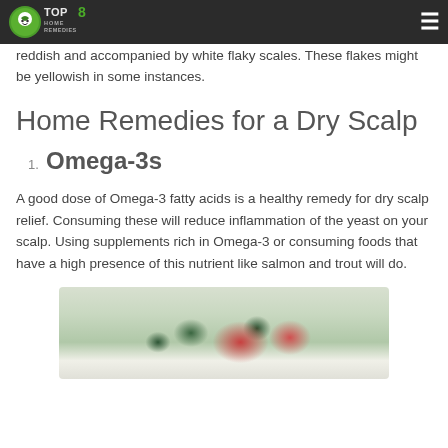Top 8 Home Remedies
reddish and accompanied by white flaky scales. These flakes might be yellowish in some instances.
Home Remedies for a Dry Scalp
1. Omega-3s
A good dose of Omega-3 fatty acids is a healthy remedy for dry scalp relief. Consuming these will reduce inflammation of the yeast on your scalp. Using supplements rich in Omega-3 or consuming foods that have a high presence of this nutrient like salmon and trout will do.
[Figure (photo): Photo of a salad dish with vegetables including dark green leaves and red tomatoes on a light background]